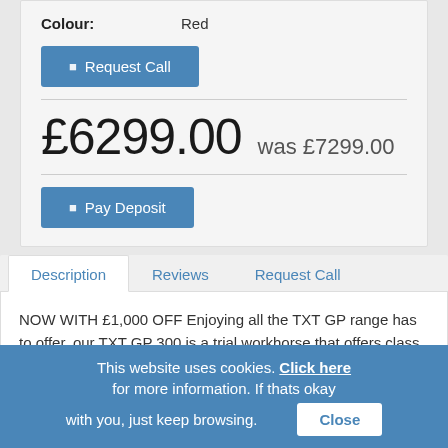Colour: Red
Request Call
£6299.00 was £7299.00
Pay Deposit
Description  Reviews  Request Call
NOW WITH £1,000 OFF Enjoying all the TXT GP range has to offer, our TXT GP 300 is a trial workhorse that offers class
This website uses cookies. Click here for more information. If thats okay with you, just keep browsing.
Close